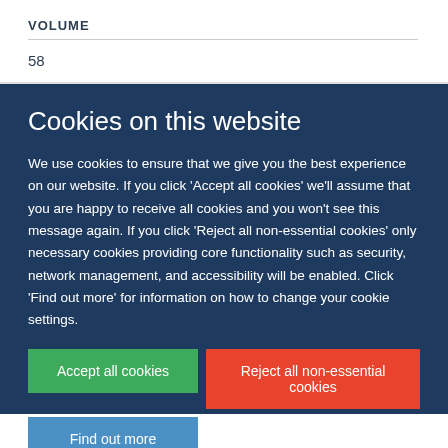VOLUME
58
Cookies on this website
We use cookies to ensure that we give you the best experience on our website. If you click 'Accept all cookies' we'll assume that you are happy to receive all cookies and you won't see this message again. If you click 'Reject all non-essential cookies' only necessary cookies providing core functionality such as security, network management, and accessibility will be enabled. Click 'Find out more' for information on how to change your cookie settings.
Accept all cookies
Reject all non-essential cookies
Find out more